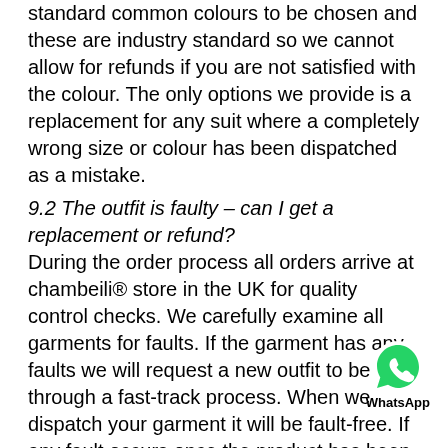standard common colours to be chosen and these are industry standard so we cannot allow for refunds if you are not satisfied with the colour. The only options we provide is a replacement for any suit where a completely wrong size or colour has been dispatched as a mistake.
9.2 The outfit is faulty – can I get a replacement or refund?
During the order process all orders arrive at chambeili® store in the UK for quality control checks. We carefully examine all garments for faults. If the garment has any faults we will request a new outfit to be sent through a fast-track process. When we dispatch your garment it will be fault-free. If any fault occurs once the product has been worn due to neglect, not following proper garment cleaning instructions, spillage of drinks or food stains or catching then we are not responsible for any damages.
9.3 I have changed my mind after I submitted the order – what will happen?
[Figure (logo): WhatsApp chat widget icon with label 'WhatsApp']